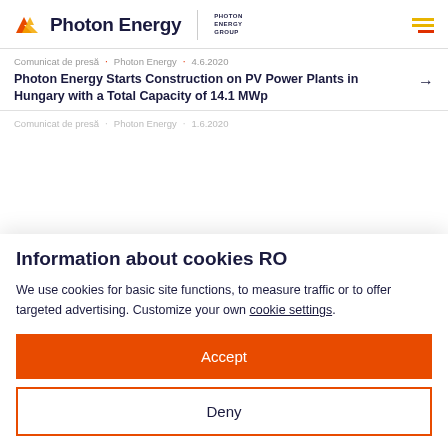[Figure (logo): Photon Energy logo with orange/red geometric icon and 'Photon Energy' text, with 'PHOTON ENERGY GROUP' sub-label]
Comunicat de presă · Photon Energy · 4.6.2020
Photon Energy Starts Construction on PV Power Plants in Hungary with a Total Capacity of 14.1 MWp
Comunicat de presă · Photon Energy · 1.6.2020
Information about cookies RO
We use cookies for basic site functions, to measure traffic or to offer targeted advertising. Customize your own cookie settings.
Accept
Deny